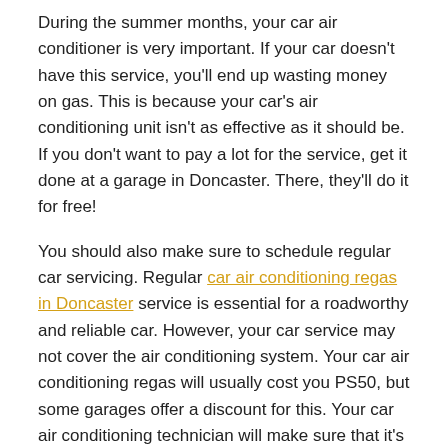During the summer months, your car air conditioner is very important. If your car doesn't have this service, you'll end up wasting money on gas. This is because your car's air conditioning unit isn't as effective as it should be. If you don't want to pay a lot for the service, get it done at a garage in Doncaster. There, they'll do it for free!
You should also make sure to schedule regular car servicing. Regular car air conditioning regas in Doncaster service is essential for a roadworthy and reliable car. However, your car service may not cover the air conditioning system. Your car air conditioning regas will usually cost you PS50, but some garages offer a discount for this. Your car air conditioning technician will make sure that it's working correctly by checking the level of lubricant, replacing the old refrigerant gas, and performing a vacuum test. Vacuum testing is also helpful in detecting any leaks or cracks.
Read More Article: How to Keep Your Car Cool With Car Air...